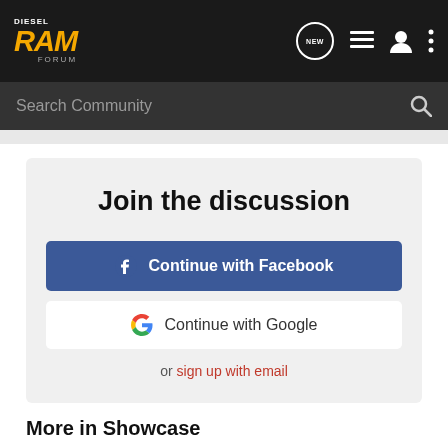DIESEL RAM FORUM
Search Community
Join the discussion
Continue with Facebook
Continue with Google
or sign up with email
More in Showcase
capebreton1967's 2016 Ram 1500 Big Horn